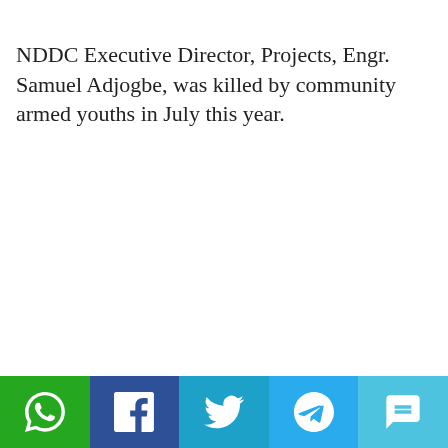NDDC Executive Director, Projects, Engr. Samuel Adjogbe, was killed by community armed youths in July this year.
[Figure (infographic): Social media share bar with icons for WhatsApp, Facebook, Twitter, Telegram, and SMS on colored backgrounds (green, dark blue, blue, light blue, cyan)]